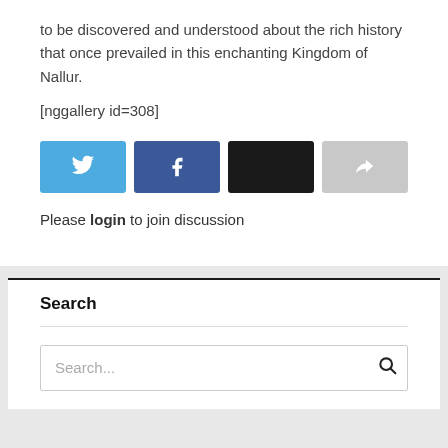to be discovered and understood about the rich history that once prevailed in this enchanting Kingdom of Nallur.
[nggallery id=308]
[Figure (screenshot): Social share buttons: Twitter (blue), Facebook (dark blue), black button, and a grey share/forward button]
Please login to join discussion
Search
Search...